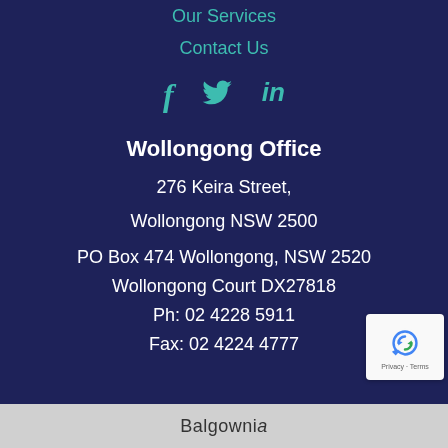Our Services
Contact Us
[Figure (illustration): Social media icons: Facebook (f), Twitter (bird), LinkedIn (in) in teal color]
Wollongong Office
276 Keira Street,
Wollongong NSW 2500
PO Box 474 Wollongong, NSW 2520
Wollongong Court DX27818
Ph: 02 4228 5911
Fax: 02 4224 4777
[Figure (illustration): reCAPTCHA badge with rotating arrows logo and Privacy - Terms text]
Balgownia